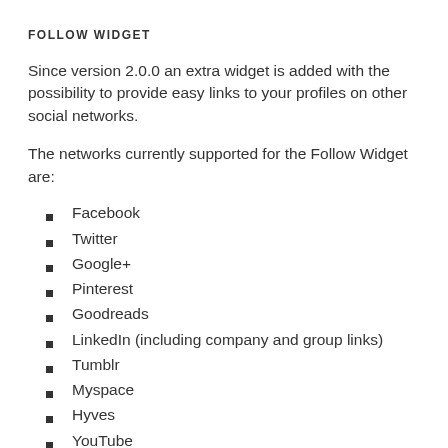FOLLOW WIDGET
Since version 2.0.0 an extra widget is added with the possibility to provide easy links to your profiles on other social networks.
The networks currently supported for the Follow Widget are:
Facebook
Twitter
Google+
Pinterest
Goodreads
LinkedIn (including company and group links)
Tumblr
Myspace
Hyves
YouTube